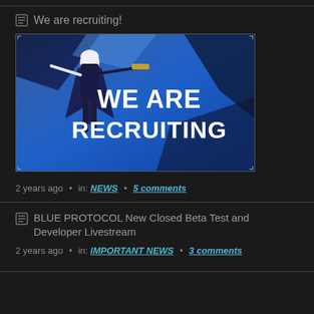We are recruiting!
[Figure (screenshot): Gaming character in dark blue outfit posing with text WE ARE RECRUITING on blue background]
2 years ago • in: NEWS • 5 comments
BLUE PROTOCOL New Closed Beta Test and Developer Livestream
2 years ago • in: IMPORTANT NEWS • 3 comments